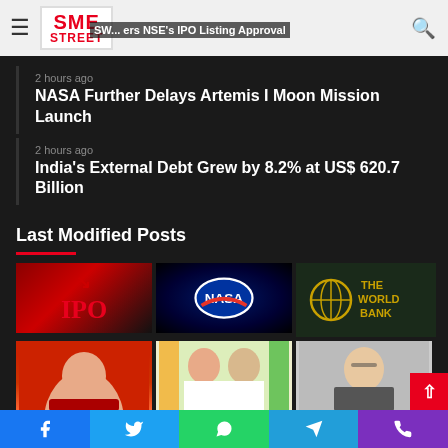SME STREET
SW... ers NSE's IPO Listing Approval
2 hours ago — NASA Further Delays Artemis I Moon Mission Launch
2 hours ago — India's External Debt Grew by 8.2% at US$ 620.7 Billion
Last Modified Posts
[Figure (photo): IPO text with red arrows]
[Figure (photo): NASA logo on dark space background]
[Figure (photo): The World Bank signage]
[Figure (photo): Person smiling, red background]
[Figure (photo): Two leaders in white attire with Indian flags]
[Figure (photo): Person with glasses, grey background]
Facebook | Twitter | WhatsApp | Telegram | Phone